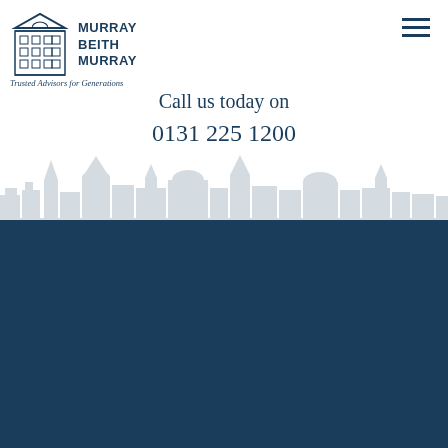[Figure (logo): Murray Beith Murray law firm logo with building icon — top header, dark blue on white]
[Figure (other): Hamburger/navigation menu icon — three horizontal lines, top right]
Call us today on
0131 225 1200
[Figure (illustration): Edinburgh city skyline watermark in light grey at the bottom of the white section]
[Figure (logo): Murray Beith Murray logo — white on dark navy blue background]
[Figure (logo): The Legal 500 badge — black background with white text]
[Figure (other): reCAPTCHA Privacy - Terms badge, bottom right]